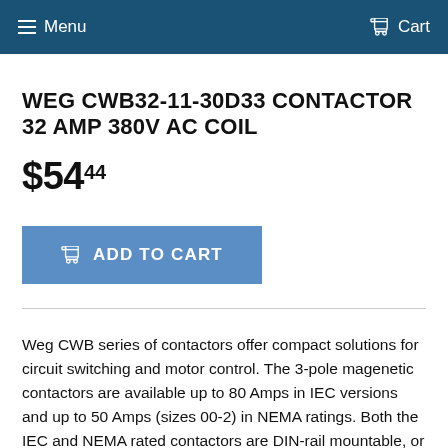Menu   Cart
WEG CWB32-11-30D33 CONTACTOR 32 AMP 380V AC COIL
$54.44
ADD TO CART
Weg CWB series of contactors offer compact solutions for circuit switching and motor control. The 3-pole magenetic contactors are available up to 80 Amps in IEC versions and up to 50 Amps (sizes 00-2) in NEMA ratings. Both the IEC and NEMA rated contactors are DIN-rail mountable, or can be mounted with screws.